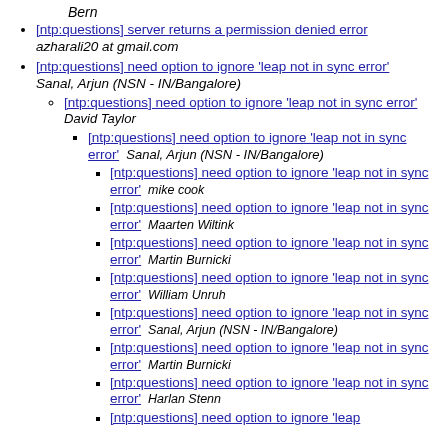Bern
[ntp:questions] server returns a permission denied error  azharali20 at gmail.com
[ntp:questions] need option to ignore 'leap not in sync error'  Sanal, Arjun (NSN - IN/Bangalore)
[ntp:questions] need option to ignore 'leap not in sync error'  David Taylor
[ntp:questions] need option to ignore 'leap not in sync error'  Sanal, Arjun (NSN - IN/Bangalore)
[ntp:questions] need option to ignore 'leap not in sync error'  mike cook
[ntp:questions] need option to ignore 'leap not in sync error'  Maarten Wiltink
[ntp:questions] need option to ignore 'leap not in sync error'  Martin Burnicki
[ntp:questions] need option to ignore 'leap not in sync error'  William Unruh
[ntp:questions] need option to ignore 'leap not in sync error'  Sanal, Arjun (NSN - IN/Bangalore)
[ntp:questions] need option to ignore 'leap not in sync error'  Martin Burnicki
[ntp:questions] need option to ignore 'leap not in sync error'  Harlan Stenn
[ntp:questions] need option to ignore 'leap not in sync error'  Maarten Wiltink (partial, cut off)